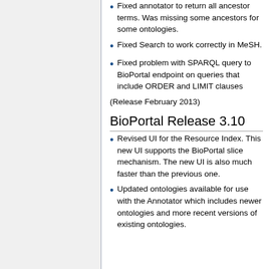Fixed annotator to return all ancestor terms. Was missing some ancestors for some ontologies.
Fixed Search to work correctly in MeSH.
Fixed problem with SPARQL query to BioPortal endpoint on queries that include ORDER and LIMIT clauses
(Release February 2013)
BioPortal Release 3.10
Revised UI for the Resource Index. This new UI supports the BioPortal slice mechanism. The new UI is also much faster than the previous one.
Updated ontologies available for use with the Annotator which includes newer ontologies and more recent versions of existing ontologies.